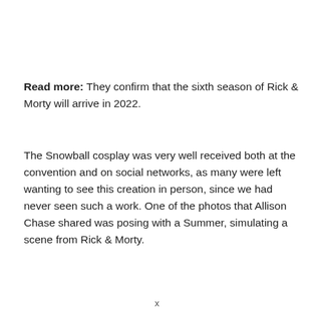Read more: They confirm that the sixth season of Rick & Morty will arrive in 2022.
The Snowball cosplay was very well received both at the convention and on social networks, as many were left wanting to see this creation in person, since we had never seen such a work. One of the photos that Allison Chase shared was posing with a Summer, simulating a scene from Rick & Morty.
x